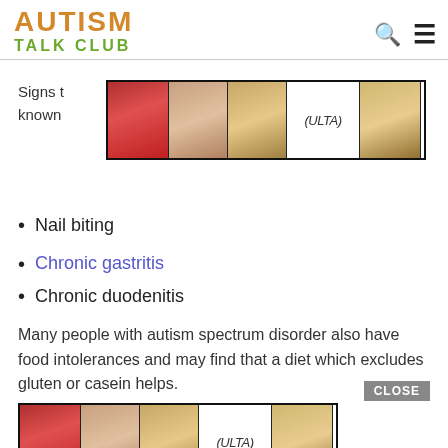AUTISM TALK CLUB
Signs t…s known…
[Figure (photo): ULTA beauty advertisement banner with makeup images and SHOP NOW button]
Nail biting
Chronic gastritis
Chronic duodenitis
Many people with autism spectrum disorder also have food intolerances and may find that a diet which excludes gluten or casein helps.
[Figure (photo): ULTA beauty advertisement banner with makeup images and SHOP NOW button, with CLOSE button]